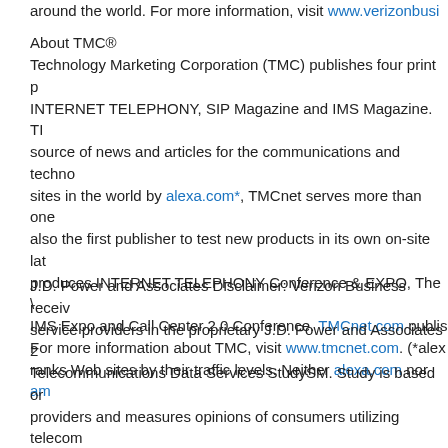around the world. For more information, visit www.verizonbusiness.com
About TMC®
Technology Marketing Corporation (TMC) publishes four print publications: INTERNET TELEPHONY, SIP Magazine and IMS Magazine. TMCnet.com is the source of news and articles for the communications and technology industry. Ranked among the top sites in the world by alexa.com*, TMCnet serves more than one million unique visitors monthly. TMC is also the first publisher to test new products in its own on-site lab. TMC produces INTERNET TELEPHONY Conference & EXPO, The VoIP Summit, IMS Expo and Call Center 2.0 Conference. TMCnet.com publishes a variety of newsletters. For more information about TMC, visit www.tmcnet.com. (*alexa.com ranks Web sites by their traffic levels. Neither alexa.com nor any...
J.D. Power and Associates Disclaimer: Verizon Business received the highest numerical score among service providers in the proprietary J.D. Power and Associates 2006 Managed Network/IP Telecommunications Data Services StudySM. Study is based on responses from 546 providers and measures opinions of consumers utilizing telecommunications services for enterprise U.S. businesses. Proprietary study results are based on experiences and opinions of consumers surveyed in January 2006. Your experiences may vary.